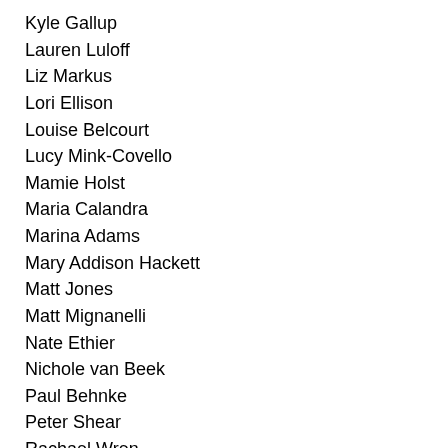Kyle Gallup
Lauren Luloff
Liz Markus
Lori Ellison
Louise Belcourt
Lucy Mink-Covello
Mamie Holst
Maria Calandra
Marina Adams
Mary Addison Hackett
Matt Jones
Matt Mignanelli
Nate Ethier
Nichole van Beek
Paul Behnke
Peter Shear
Rachael Wren
Ridley Harvel